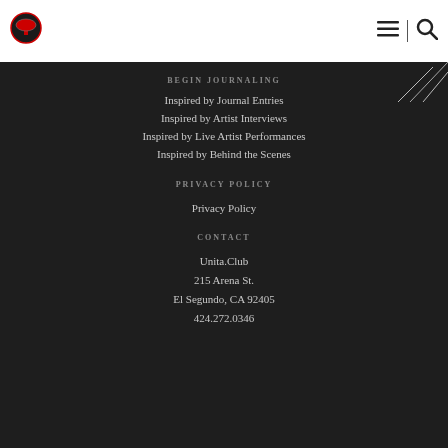[Figure (logo): Circular logo with mushroom/tree icon in red and black, small text below]
[Figure (other): Hamburger menu icon (three horizontal lines)]
[Figure (other): Search icon (magnifying glass)]
BEGIN JOURNALING
Inspired by Journal Entries
Inspired by Artist Interviews
Inspired by Live Artist Performances
Inspired by Behind the Scenes
PRIVACY POLICY
Privacy Policy
CONTACT
Unita.Club
215 Arena St.
El Segundo, CA 92405
424.272.0346